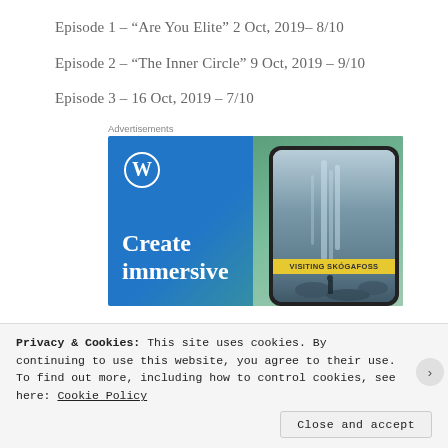Episode 1 – “Are You Elite” 2 Oct, 2019– 8/10
Episode 2 – “The Inner Circle” 9 Oct, 2019 – 9/10
Episode 3 – 16 Oct, 2019 – 7/10
Advertisements
[Figure (screenshot): WordPress advertisement banner showing WordPress logo, 'Create immersive' text in white, and a phone displaying a travel blog post titled 'VISITING SKOGAFOSS' against a blue-green gradient background.]
Privacy & Cookies: This site uses cookies. By continuing to use this website, you agree to their use.
To find out more, including how to control cookies, see here: Cookie Policy
Close and accept